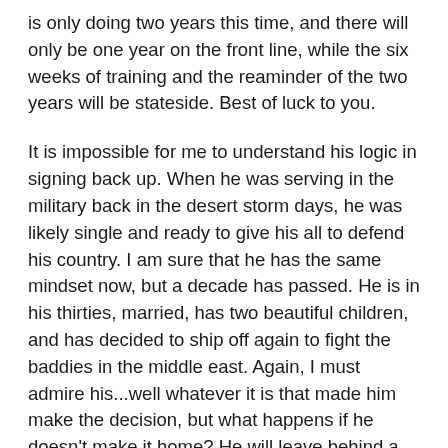is only doing two years this time, and there will only be one year on the front line, while the six weeks of training and the reaminder of the two years will be stateside. Best of luck to you.
It is impossible for me to understand his logic in signing back up. When he was serving in the military back in the desert storm days, he was likely single and ready to give his all to defend his country. I am sure that he has the same mindset now, but a decade has passed. He is in his thirties, married, has two beautiful children, and has decided to ship off again to fight the baddies in the middle east. Again, I must admire his...well whatever it is that made him make the decision, but what happens if he doesn't make it home? He will leave behind a widow and a couple of children that will likely spend the rest of their lives wondering why he decided to fight this fight. There is a very famous line from a movie (which I think was 'Johnny got his gun') where a child asks his father "Dad, when it comes my